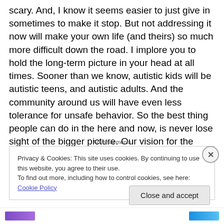scary. And, I know it seems easier to just give in sometimes to make it stop. But not addressing it now will make your own life (and theirs) so much more difficult down the road. I implore you to hold the long-term picture in your head at all times. Sooner than we know, autistic kids will be autistic teens, and autistic adults. And the community around us will have even less tolerance for unsafe behavior. So the best thing people can do in the here and now, is never lose sight of the bigger picture. Our vision for the future can be our compass for the present.
Advertisements
Privacy & Cookies: This site uses cookies. By continuing to use this website, you agree to their use.
To find out more, including how to control cookies, see here: Cookie Policy
Close and accept